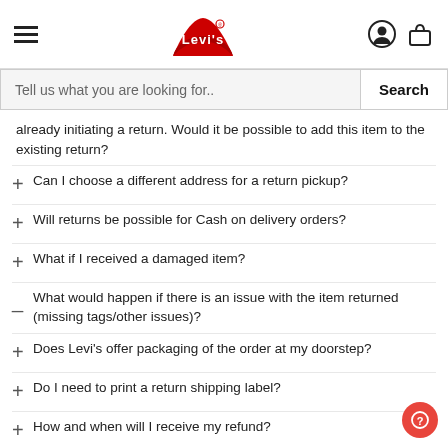[Figure (logo): Levi's red tab logo with hamburger menu, user icon, and shopping bag icon in the header]
[Figure (screenshot): Search bar with placeholder text 'Tell us what you are looking for..' and a Search button]
already initiating a return. Would it be possible to add this item to the existing return?
Can I choose a different address for a return pickup?
Will returns be possible for Cash on delivery orders?
What if I received a damaged item?
What would happen if there is an issue with the item returned (missing tags/other issues)?
Does Levi's offer packaging of the order at my doorstep?
Do I need to print a return shipping label?
How and when will I receive my refund?
Can I exchange an item?
Can I exchange an item for a different size?